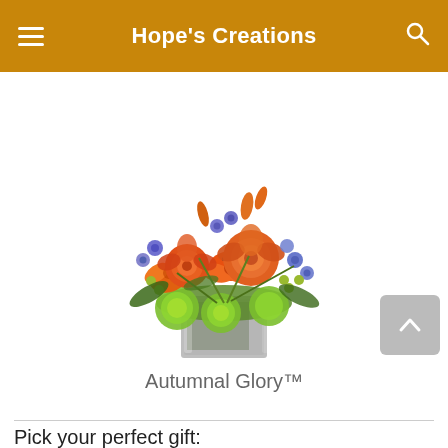Hope's Creations
FREE* Next Day Delivery ends in: 40 : 59 : 56
[Figure (photo): Flower arrangement called Autumnal Glory - orange roses, orange lilies, blue flowers, green chrysanthemums in a square glass vase]
Autumnal Glory™
Pick your perfect gift: